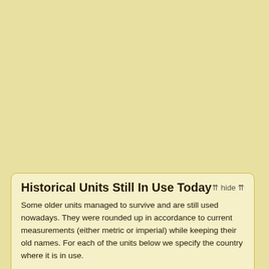Historical Units Still In Use Today
Some older units managed to survive and are still used nowadays. They were rounded up in accordance to current measurements (either metric or imperial) while keeping their old names. For each of the units below we specify the country where it is in use.
cuadra of Ecuador to dulum (дулум) of Bosnia and Herzegovina and Serbia   7.056